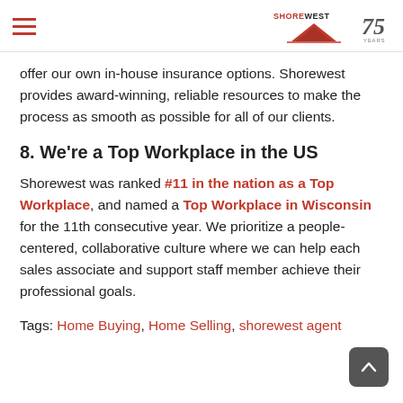Shorewest — 75 Years
offer our own in-house insurance options. Shorewest provides award-winning, reliable resources to make the process as smooth as possible for all of our clients.
8. We're a Top Workplace in the US
Shorewest was ranked #11 in the nation as a Top Workplace, and named a Top Workplace in Wisconsin for the 11th consecutive year. We prioritize a people-centered, collaborative culture where we can help each sales associate and support staff member achieve their professional goals.
Tags: Home Buying, Home Selling, shorewest agent